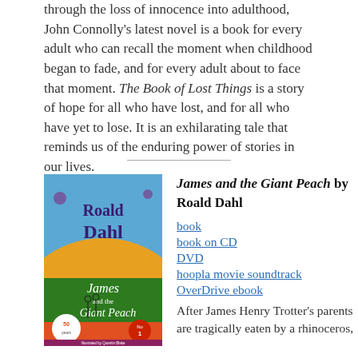through the loss of innocence into adulthood, John Connolly's latest novel is a book for every adult who can recall the moment when childhood began to fade, and for every adult about to face that moment. The Book of Lost Things is a story of hope for all who have lost, and for all who have yet to lose. It is an exhilarating tale that reminds us of the enduring power of stories in our lives.
[Figure (illustration): Book cover of James and the Giant Peach by Roald Dahl, illustrated by Quentin Blake. Shows colorful illustration with blue sky, orange/yellow hill, green ground, with characters and title text.]
James and the Giant Peach by Roald Dahl
book
book on CD
DVD
hoopla movie soundtrack
OverDrive ebook
After James Henry Trotter's parents are tragically eaten by a rhinoceros,